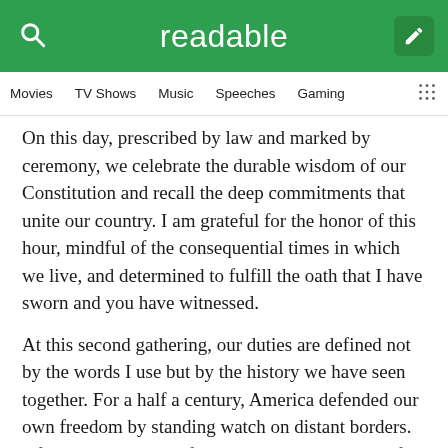readable
Movies   TV Shows   Music   Speeches   Gaming
On this day, prescribed by law and marked by ceremony, we celebrate the durable wisdom of our Constitution and recall the deep commitments that unite our country. I am grateful for the honor of this hour, mindful of the consequential times in which we live, and determined to fulfill the oath that I have sworn and you have witnessed.
At this second gathering, our duties are defined not by the words I use but by the history we have seen together. For a half a century, America defended our own freedom by standing watch on distant borders. After the shipwreck of communism came years of relative quiet, years of repose, years of sabbatical, and then there came a day of fire.
We have seen our vulnerability, and we have seen